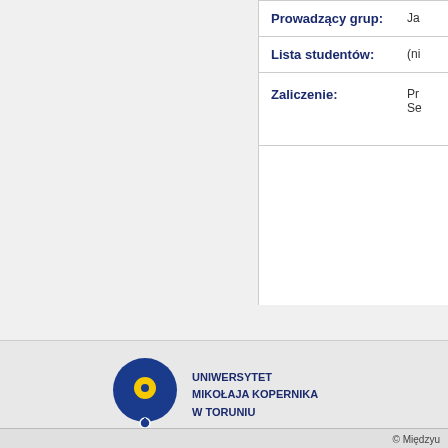| Field | Value |
| --- | --- |
| Prowadzący grup: | Ja… |
| Lista studentów: | (ni… |
| Zaliczenie: | Pr… Se… |
[Figure (logo): Uniwersytet Mikołaja Kopernika w Toruniu logo — blue circle with yellow dot and small white circle, with university name text]
© Międzyu…